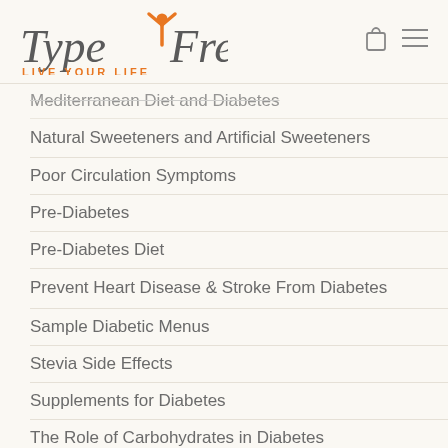[Figure (logo): TypeFree Diabetes logo with orange figure and text 'LIVE YOUR LIFE']
Mediterranean Diet and Diabetes
Natural Sweeteners and Artificial Sweeteners
Poor Circulation Symptoms
Pre-Diabetes
Pre-Diabetes Diet
Prevent Heart Disease & Stroke From Diabetes
Sample Diabetic Menus
Stevia Side Effects
Supplements for Diabetes
The Role of Carbohydrates in Diabetes
Treatments for Type 2 Diabetes
Type 2 Diabetes and Weight...